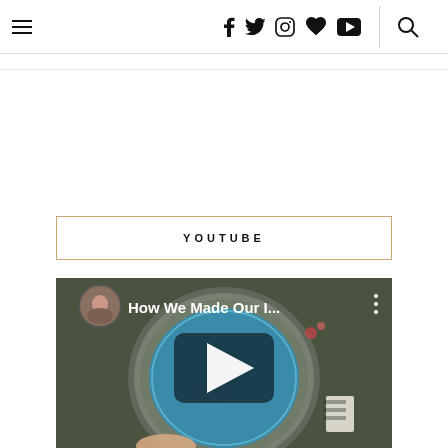Navigation header with hamburger menu, social icons (Facebook, Twitter, Instagram, Heart, YouTube), and search icon
YOUTUBE
[Figure (screenshot): YouTube video embed thumbnail showing two people, a circular pool viewed from above, with play button overlay and title 'How We Made Our I...']